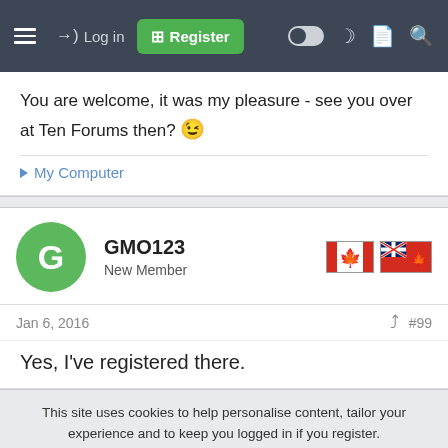Log in | Register
You are welcome, it was my pleasure - see you over at Ten Forums then? 😉
▶ My Computer
GMO123
New Member
Jan 6, 2016
#99
Yes, I've registered there.
This site uses cookies to help personalise content, tailor your experience and to keep you logged in if you register.
By continuing to use this site, you are consenting to our use of cookies.
Accept | Learn more...